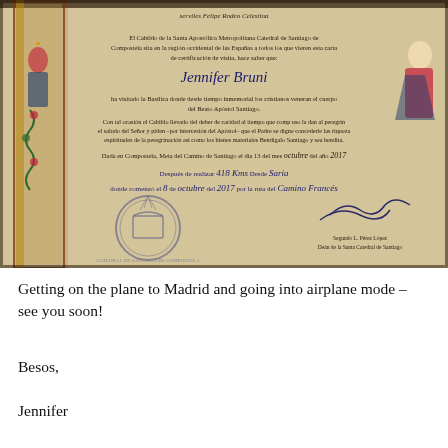[Figure (photo): A Compostela certificate (pilgrim's completion certificate) from the Cathedral of Santiago de Compostela, dated October 13, 2017, awarded to Jennifer Bruni, showing 418 km walked from Saria starting October 8, 2017 via the Camino Francés route. The certificate features decorative illuminated borders with a figure of Saint James, official seal, and signature of the Dean of the Cathedral.]
Getting on the plane to Madrid and going into airplane mode – see you soon!
Besos,
Jennifer